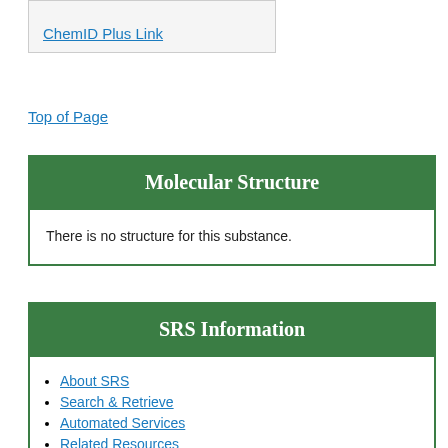| ChemID Plus Link |
Top of Page
Molecular Structure
There is no structure for this substance.
SRS Information
About SRS
Search & Retrieve
Automated Services
Related Resources